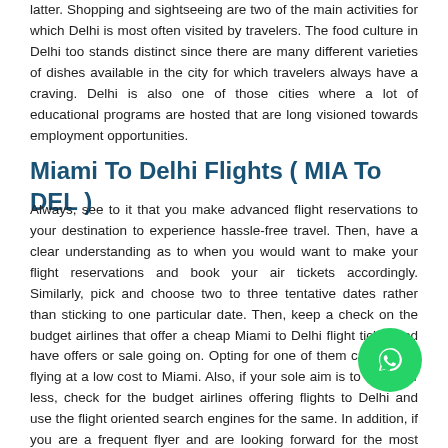latter. Shopping and sightseeing are two of the main activities for which Delhi is most often visited by travelers. The food culture in Delhi too stands distinct since there are many different varieties of dishes available in the city for which travelers always have a craving. Delhi is also one of those cities where a lot of educational programs are hosted that are long visioned towards employment opportunities.
Miami To Delhi Flights ( MIA To DEL )
Always, see to it that you make advanced flight reservations to your destination to experience hassle-free travel. Then, have a clear understanding as to when you would want to make your flight reservations and book your air tickets accordingly. Similarly, pick and choose two to three tentative dates rather than sticking to one particular date. Then, keep a check on the budget airlines that offer a cheap Miami to Delhi flight ticket and have offers or sale going on. Opting for one of them can help in flying at a low cost to Miami. Also, if your sole aim is to travel for less, check for the budget airlines offering flights to Delhi and use the flight oriented search engines for the same. In addition, if you are a frequent flyer and are looking forward for the most cheapest Miami to Delhi flights, then use up all your travel points while making flight reservations. Most importantly, to feel the significant difference travel, try different combinations of flights while traveling to and fro your destination.